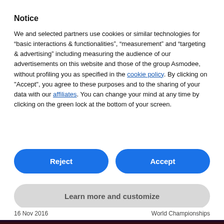Notice
We and selected partners use cookies or similar technologies for “basic interactions & functionalities”, “measurement” and “targeting & advertising” including measuring the audience of our advertisements on this website and those of the group Asmodee, without profiling you as specified in the cookie policy. By clicking on “Accept”, you agree to these purposes and to the sharing of your data with our affiliates. You can change your mind at any time by clicking on the green lock at the bottom of your screen.
Reject
Accept
Learn more and customize
16 Nov 2016    World Championships
[Figure (photo): Bottom partial image showing World Championships logo/graphic with dark background and text WORLD]